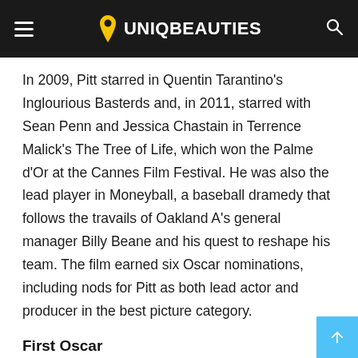UNIQBEAUTIES
In 2009, Pitt starred in Quentin Tarantino's Inglourious Basterds and, in 2011, starred with Sean Penn and Jessica Chastain in Terrence Malick's The Tree of Life, which won the Palme d'Or at the Cannes Film Festival. He was also the lead player in Moneyball, a baseball dramedy that follows the travails of Oakland A's general manager Billy Beane and his quest to reshape his team. The film earned six Oscar nominations, including nods for Pitt as both lead actor and producer in the best picture category.
First Oscar
In 2013, Pitt won acclaim for his performance as Gerry Lane in the zombie-apocalyptic thriller World War Z (2013), directed by Marc Forster, and later that year appeared as a supporting